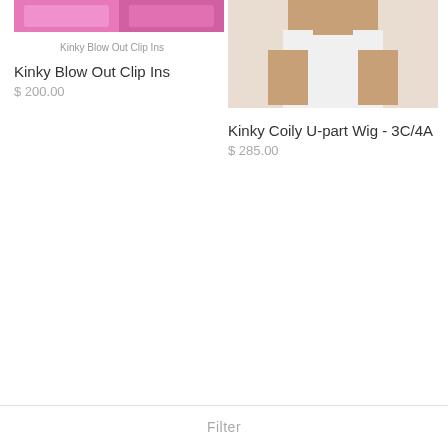[Figure (photo): Two pink clip-in hair extensions displayed side by side against a light background]
Kinky Blow Out Clip Ins
Kinky Blow Out Clip Ins
$ 200.00
[Figure (photo): Woman wearing white top posing from torso up against white background, showcasing a kinky coily U-part wig]
Kinky Coily U-part Wig - 3C/4A
$ 285.00
Filter